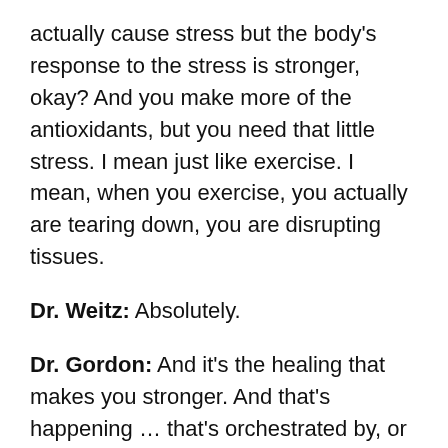actually cause stress but the body's response to the stress is stronger, okay? And you make more of the antioxidants, but you need that little stress. I mean just like exercise. I mean, when you exercise, you actually are tearing down, you are disrupting tissues.
Dr. Weitz: Absolutely.
Dr. Gordon: And it's the healing that makes you stronger. And that's happening … that's orchestrated by, or conducted by the mitochondria. And it's a separate function but it's a